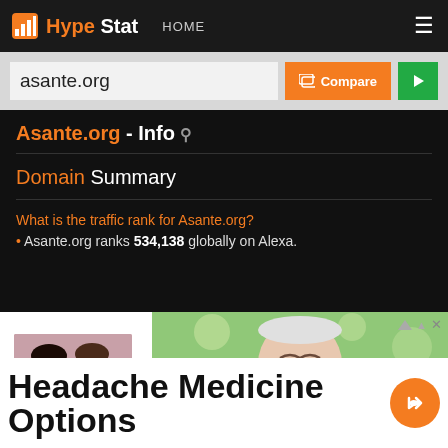HypeStat HOME
asante.org
Asante.org - Info
Domain Summary
What is the traffic rank for Asante.org? • Asante.org ranks 534,138 globally on Alexa.
[Figure (photo): Advertisement showing two laughing women (left) and a laughing elderly man outdoors (right)]
Headache Medicine Options